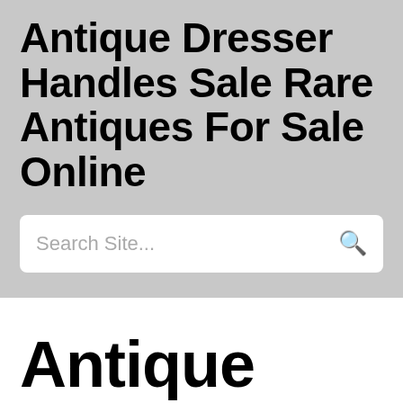Antique Dresser Handles Sale Rare Antiques For Sale Online
Search Site...
Antique